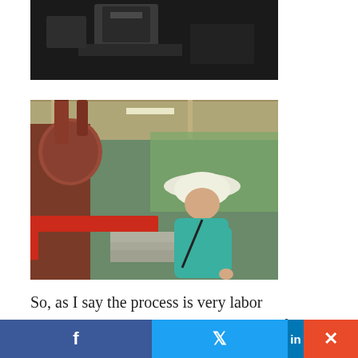[Figure (photo): Dark industrial/mining equipment photo, showing concrete or stone objects against a very dark background]
[Figure (photo): Woman in a white hat and teal shirt standing next to large rusty industrial machinery (distillation or processing equipment) in an open shed with green trees in background]
So, as I say the process is very labor intensive as evidenced by the number of strapping young lads about a hat with hauling great piles of
f  •  in  ✕